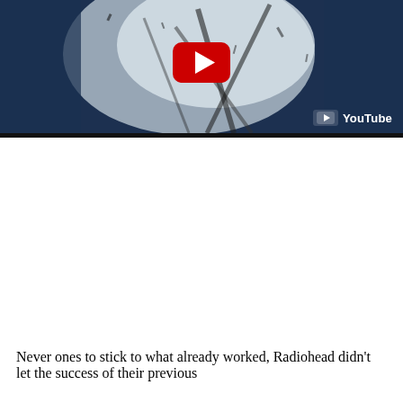[Figure (screenshot): YouTube video embed thumbnail showing abstract art with blues and whites, with a red YouTube play button in the center and YouTube watermark in the bottom right]
Never ones to stick to what already worked, Radiohead didn't let the success of their previous